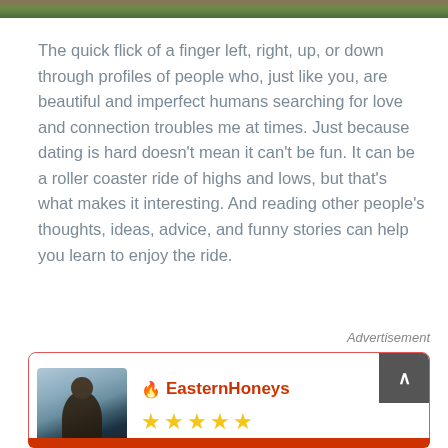[Figure (photo): Decorative top image bar with foliage/nature colors]
The quick flick of a finger left, right, up, or down through profiles of people who, just like you, are beautiful and imperfect humans searching for love and connection troubles me at times. Just because dating is hard doesn't mean it can't be fun. It can be a roller coaster ride of highs and lows, but that's what makes it interesting. And reading other people's thoughts, ideas, advice, and funny stories can help you learn to enjoy the ride.
Advertisement
[Figure (infographic): Advertisement card for EasternHoneys with a photo of a woman, brand name with flame icon, and 5 star rating]